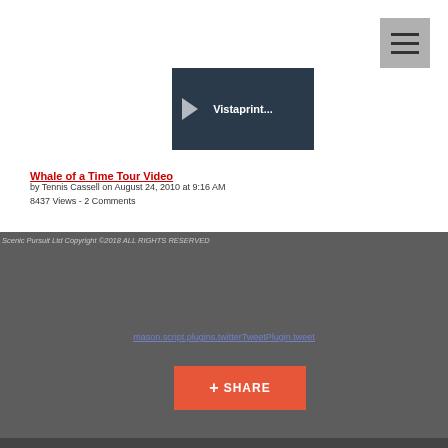[Figure (screenshot): Video thumbnail showing 'Vistaprint...' text with play button on dark background]
Whale of a Time Tour Video
by Tennis Cassell on August 24, 2010 at 9:16 AM
8437 Views - 2 Comments
Scenic Pursuit Ltd Copyright ©2018 ALL RIGHTS RESERVED
mason.script.plugins.twitterTweetPlugin.tweet
[Figure (other): + SHARE button in orange/red color]